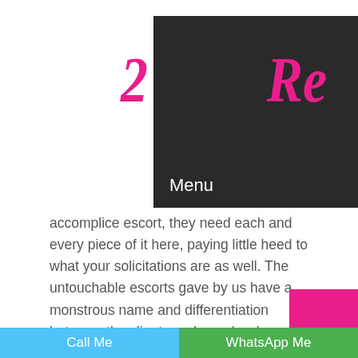[Figure (screenshot): Website header with dark navigation bar showing 'Menu' text and hamburger icon, with pink script logo letters visible on white background on either side]
accomplice escort, they need each and every piece of it here, paying little heed to what your solicitations are as well. The untouchable escorts gave by us have a monstrous name and differentiation between the clients and people who come back to the pink town of India for these sorts of organizations. These escorts serve you in such a style, that you basically wish to demonize them at whatever point you wish. West Singhbhum escort providers supply the best escort organization to every client with the specific hot and horny female model. If you are one in every single one of those men, who may really need to start themselves sensitive, advantage yourself of West Singhbhum Escort game plans that are offered for every one
Call Me | WhatsApp Me